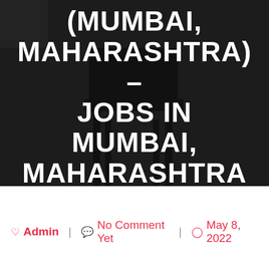[Figure (photo): Dark background hero image showing a chair silhouette with bold white text overlay about Mumbai Maharashtra jobs]
(MUMBAI, MAHARASHTRA) – JOBS IN MUMBAI, MAHARASHTRA
Admin | No Comment Yet | May 8, 2022